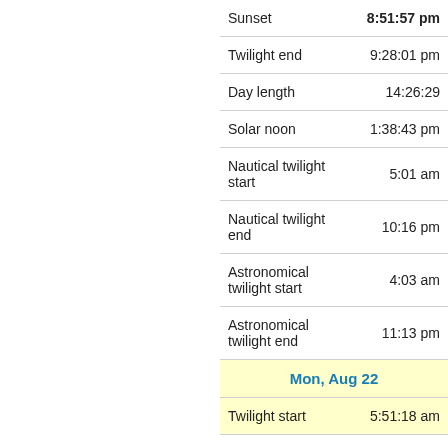| Sunset | 8:51:57 pm |
| Twilight end | 9:28:01 pm |
| Day length | 14:26:29 |
| Solar noon | 1:38:43 pm |
| Nautical twilight start | 5:01 am |
| Nautical twilight end | 10:16 pm |
| Astronomical twilight start | 4:03 am |
| Astronomical twilight end | 11:13 pm |
| Mon, Aug 22 |  |
| Twilight start | 5:51:18 am |